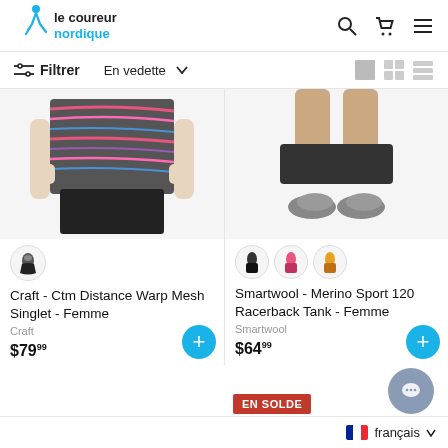le coureur nordique
Filtrer  En vedette
[Figure (photo): Woman wearing a colorful patterned singlet top, cropped at waist level, hands on hips against white background]
[Figure (photo): Lower body of a woman wearing a dark skirt and grey sneakers against white background]
Craft - Ctm Distance Warp Mesh Singlet - Femme
Craft
$79.99
Smartwool - Merino Sport 120 Racerback Tank - Femme
Smartwool
$64.99
EN SOLDE
français